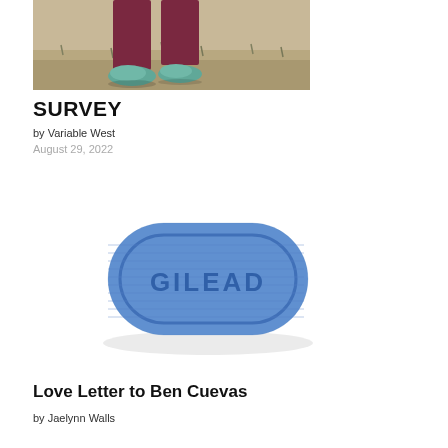[Figure (photo): Photo of person's legs and feet wearing teal/mint shoes and dark maroon pants, standing on sandy/gravelly ground with sparse dry grass]
SURVEY
by Variable West
August 29, 2022
[Figure (photo): Blue knitted/crocheted pill-shaped object with the word GILEAD embroidered on it in darker blue text, on white background]
Love Letter to Ben Cuevas
by Jaelynn Walls